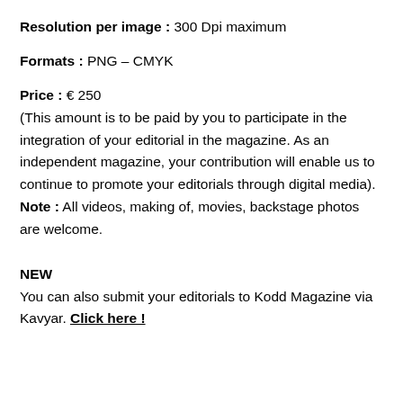Resolution per image : 300 Dpi maximum
Formats : PNG – CMYK
Price : € 250
(This amount is to be paid by you to participate in the integration of your editorial in the magazine. As an independent magazine, your contribution will enable us to continue to promote your editorials through digital media).
Note : All videos, making of, movies, backstage photos are welcome.
NEW
You can also submit your editorials to Kodd Magazine via Kavyar. Click here !